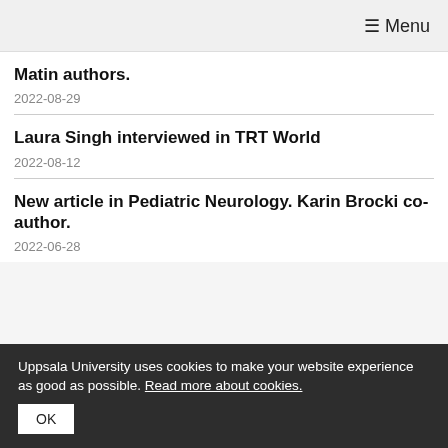≡ Menu
Matin authors.
2022-08-29
Laura Singh interviewed in TRT World
2022-08-12
New article in Pediatric Neurology. Karin Brocki co-author.
2022-06-28
Uppsala University uses cookies to make your website experience as good as possible. Read more about cookies.